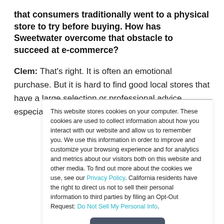that consumers traditionally went to a physical store to try before buying. How has Sweetwater overcome that obstacle to succeed at e-commerce?
Clem: That's right. It is often an emotional purchase. But it is hard to find good local stores that have a large selection or professional advice, especially for complex technology products.
This website stores cookies on your computer. These cookies are used to collect information about how you interact with our website and allow us to remember you. We use this information in order to improve and customize your browsing experience and for analytics and metrics about our visitors both on this website and other media. To find out more about the cookies we use, see our Privacy Policy. California residents have the right to direct us not to sell their personal information to third parties by filing an Opt-Out Request: Do Not Sell My Personal Info.
Accept